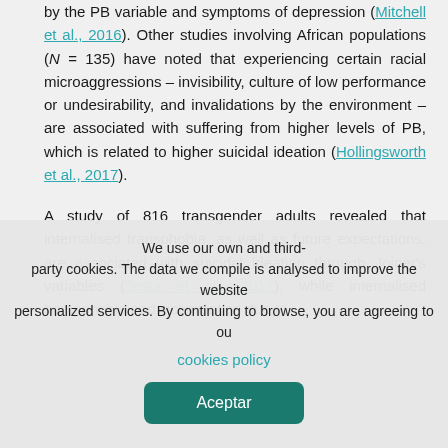by the PB variable and symptoms of depression (Mitchell et al., 2016). Other studies involving African populations (N = 135) have noted that experiencing certain racial microaggressions – invisibility, culture of low performance or undesirability, and invalidations by the environment – are associated with suffering from higher levels of PB, which is related to higher suicidal ideation (Hollingsworth et al., 2017).
A study of 816 transgender adults revealed that internalised transphobia, as well as future expectations, are associated with suicidal ideation through Joiner's variables (Testa et al., 2017), while internalised homophobia and victimisation due to
We use our own and third-party cookies. The data we compile is analysed to improve the website personalized services. By continuing to browse, you are agreeing to our cookies policy